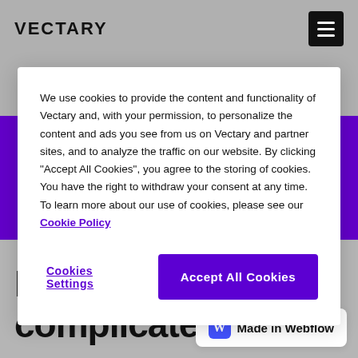VECTARY
We use cookies to provide the content and functionality of Vectary and, with your permission, to personalize the content and ads you see from us on Vectary and partner sites, and to analyze the traffic on our website. By clicking “Accept All Cookies”, you agree to the storing of cookies. You have the right to withdraw your consent at any time. To learn more about our use of cookies, please see our Cookie Policy
Cookies Settings
Accept All Cookies
Innovate don’t complicate
Made in Webflow